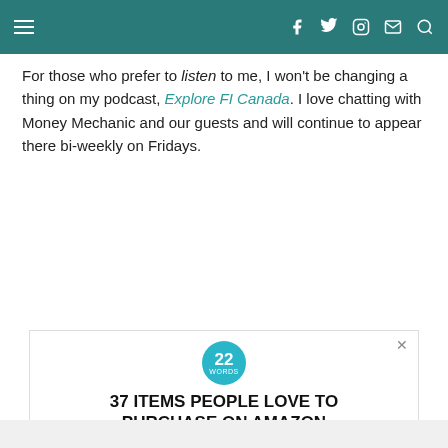Navigation bar with hamburger menu and social icons (Facebook, Twitter, Instagram, Email, Search)
For those who prefer to listen to me, I won't be changing a thing on my podcast, Explore FI Canada. I love chatting with Money Mechanic and our guests and will continue to appear there bi-weekly on Fridays.
[Figure (other): Advertisement banner: '22 Words' circular badge logo, headline '37 ITEMS PEOPLE LOVE TO PURCHASE ON AMAZON', product images of dark objects, and a CLOSE button]